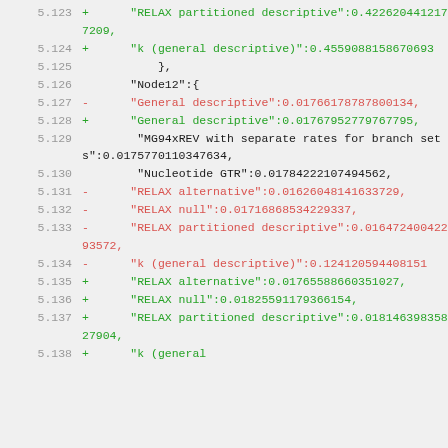Code diff showing JSON data lines 5.123–5.138 with added (+) lines in green and removed (-) lines in red, containing numeric values for various model descriptors like RELAX alternative, RELAX null, RELAX partitioned descriptive, k (general descriptive), General descriptive, MG94xREV with separate rates for branch sets, Nucleotide GTR.